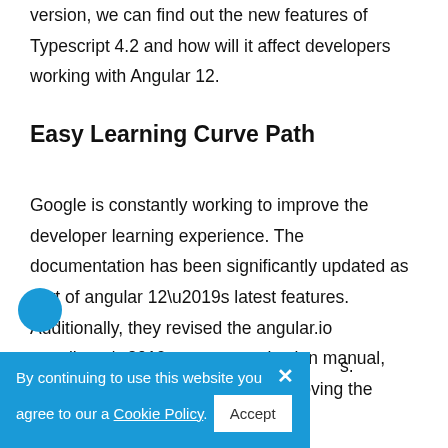version, we can find out the new features of Typescript 4.2 and how will it affect developers working with Angular 12.
Easy Learning Curve Path
Google is constantly working to improve the developer learning experience. The documentation has been significantly updated as part of angular 12’s latest features. Additionally, they revised the angular.io contributor’s content projection manual, which will assist developers in improving the
s.
By continuing to use this website you agree to our a Cookie Policy. Accept